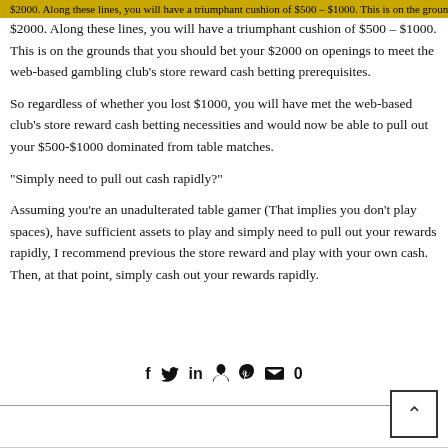$2000. Along these lines, you will have a triumphant cushion of $500 – $1000. This is on the grounds that you should bet your $2000 on openings to meet the web-based gambling club’s store reward cash betting prerequisites.
So regardless of whether you lost $1000, you will have met the web-based club’s store reward cash betting necessities and would now be able to pull out your $500-$1000 dominated from table matches.
“Simply need to pull out cash rapidly?”
Assuming you’re an unadulterated table gamer (That implies you don’t play spaces), have sufficient assets to play and simply need to pull out your rewards rapidly, I recommend previous the store reward and play with your own cash. Then, at that point, simply cash out your rewards rapidly.
[Figure (other): Social media sharing icons: Facebook (f), Twitter (bird), LinkedIn (in), Pinterest (P), comment bubble with 0]